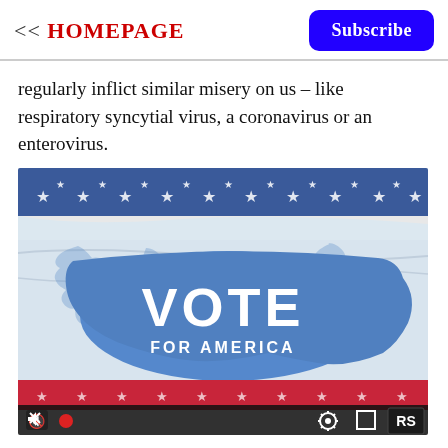<< HOMEPAGE  Subscribe
regularly inflict similar misery on us – like respiratory syncytial virus, a coronavirus or an enterovirus.
[Figure (illustration): A waving American flag with a blue silhouette of the United States map overlaid, displaying the text 'VOTE FOR AMERICA' in white letters. Video player controls visible at the bottom including a mute icon, record button, settings gear, fullscreen icon, and RS logo.]